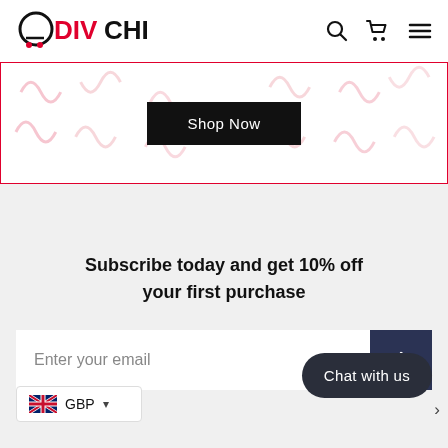DIVCHI
[Figure (screenshot): Divchi e-commerce website header with logo, search icon, cart icon, and hamburger menu]
[Figure (infographic): Shop Now banner with pink squiggle decorative background pattern and black Shop Now button]
Subscribe today and get 10% off your first purchase
Enter your email
Chat with us
GBP